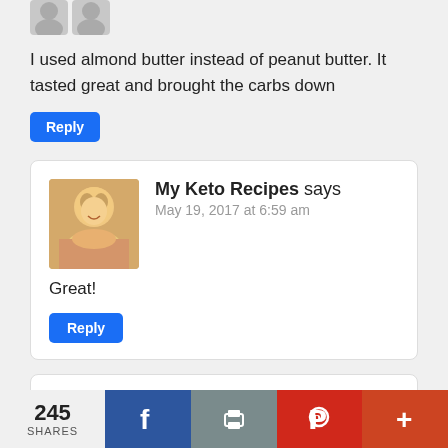[Figure (photo): Partial anonymous user avatar at top of page]
I used almond butter instead of peanut butter. It tasted great and brought the carbs down
Reply
My Keto Recipes says
May 19, 2017 at 6:59 am
[Figure (photo): Profile photo of My Keto Recipes commenter, blonde woman smiling]
Great!
Reply
Anonymous says
[Figure (photo): Anonymous user avatar, grey silhouette]
245 SHARES
Facebook share button
Print share button
Pinterest share button
More share button